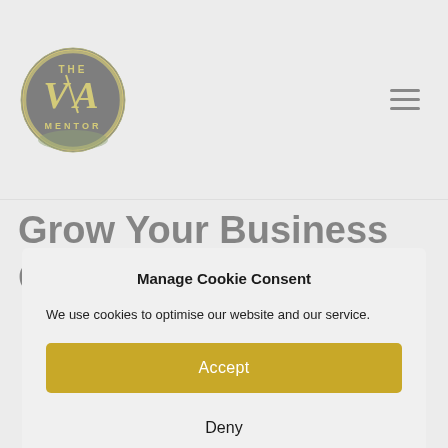[Figure (logo): The VA Mentor circular logo with gold lettering on black background]
Grow Your Business Quickly
Manage Cookie Consent
We use cookies to optimise our website and our service.
Accept
Deny
Preferences